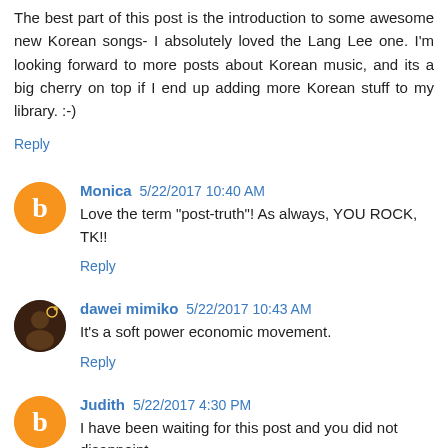The best part of this post is the introduction to some awesome new Korean songs- I absolutely loved the Lang Lee one. I'm looking forward to more posts about Korean music, and its a big cherry on top if I end up adding more Korean stuff to my library. :-)
Reply
Monica 5/22/2017 10:40 AM
Love the term "post-truth"! As always, YOU ROCK, TK!!
Reply
dawei mimiko 5/22/2017 10:43 AM
It's a soft power economic movement.
Reply
Judith 5/22/2017 4:30 PM
I have been waiting for this post and you did not disappoint.